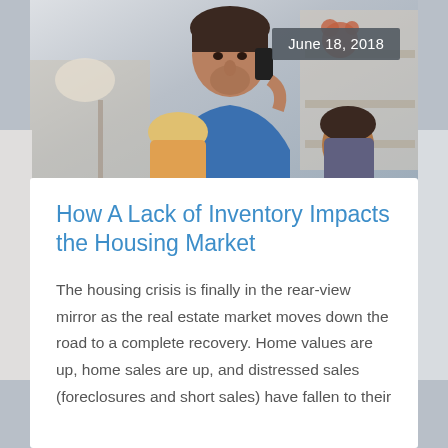[Figure (photo): A man in a blue t-shirt talking on a phone while two children are around him, in a room with shelves and a lamp in the background.]
June 18, 2018
How A Lack of Inventory Impacts the Housing Market
The housing crisis is finally in the rear-view mirror as the real estate market moves down the road to a complete recovery. Home values are up, home sales are up, and distressed sales (foreclosures and short sales) have fallen to their